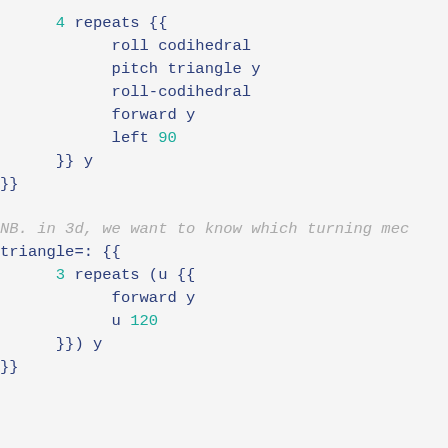4 repeats {{
    roll codihedral
    pitch triangle y
    roll-codihedral
    forward y
    left 90
}} y
}}

NB. in 3d, we want to know which turning mec...
triangle=: {{
    3 repeats (u {{
        forward y
        u 120
    }}) y
}}


house=: {{
    cube y
    roll 180
    pyramid y
}}